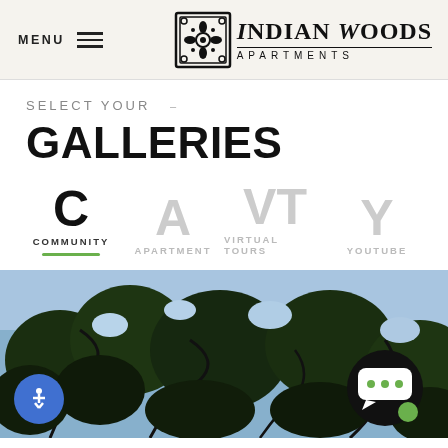MENU  |  INDIAN WOODS APARTMENTS
SELECT YOUR
GALLERIES
C  COMMUNITY (active)
A  APARTMENT
VT  VIRTUAL TOURS
Y  YOUTUBE
[Figure (photo): Upward view through tree canopy with blue sky visible between dark leaves and branches. Accessibility button (blue circle with person icon) at bottom left. Chat widget (dark circle with speech bubble and green dot) at bottom right.]